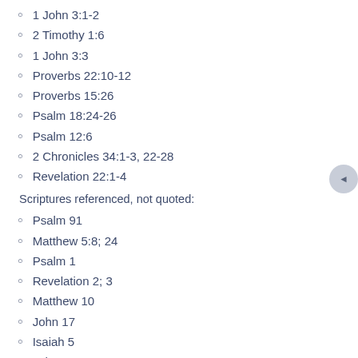1 John 3:1-2
2 Timothy 1:6
1 John 3:3
Proverbs 22:10-12
Proverbs 15:26
Psalm 18:24-26
Psalm 12:6
2 Chronicles 34:1-3, 22-28
Revelation 22:1-4
Scriptures referenced, not quoted:
Psalm 91
Matthew 5:8; 24
Psalm 1
Revelation 2; 3
Matthew 10
John 17
Isaiah 5
John 15
Deuteronomy 28
Also referenced:
Sermon Series: